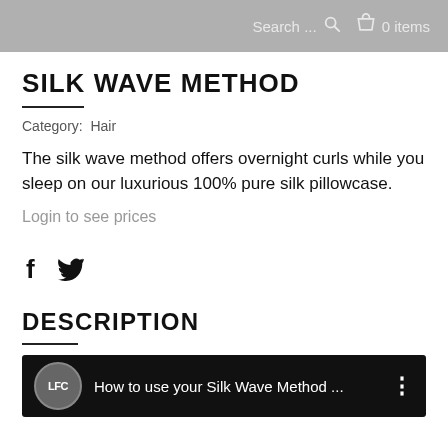Search ... 🔍 0 items
SILK WAVE METHOD
Category: Hair
The silk wave method offers overnight curls while you sleep on our luxurious 100% pure silk pillowcase.
Login to see prices
[Figure (other): Facebook and Twitter social share icons]
DESCRIPTION
[Figure (screenshot): YouTube video thumbnail showing 'How to use your Silk Wave Method ...' with LFC channel avatar]